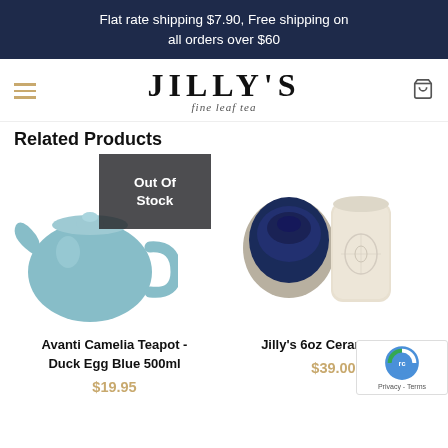Flat rate shipping $7.90, Free shipping on all orders over $60
[Figure (logo): Jilly's Fine Leaf Tea logo with hamburger menu and cart icon]
Related Products
[Figure (photo): Avanti Camelia Teapot in Duck Egg Blue 500ml with Out Of Stock overlay badge]
[Figure (photo): Jilly's 6oz Ceramic Cup - two ceramic cups, one dark blue and one cream with floral pattern]
Avanti Camelia Teapot - Duck Egg Blue 500ml
$19.95
Jilly's 6oz Ceramic Cup
$39.00
[Figure (other): reCAPTCHA badge with Privacy - Terms text]